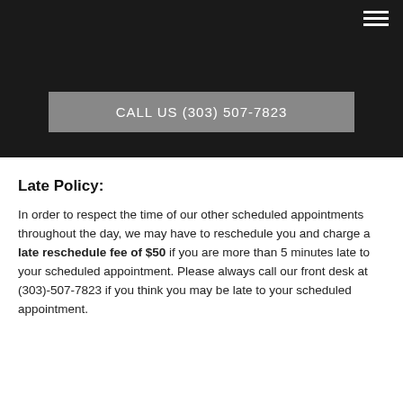CALL US (303) 507-7823
Late Policy:
In order to respect the time of our other scheduled appointments throughout the day, we may have to reschedule you and charge a late reschedule fee of $50 if you are more than 5 minutes late to your scheduled appointment. Please always call our front desk at (303)-507-7823 if you think you may be late to your scheduled appointment.